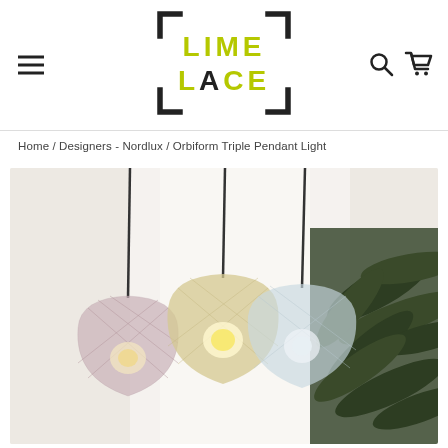Lime Lace — header navigation with logo, hamburger menu, search and cart icons
Home / Designers - Nordlux / Orbiform Triple Pendant Light
[Figure (photo): Three Orbiform pendant lights with textured glass shades hanging from dark cords against a light curtain background, with a palm plant visible on the right side.]